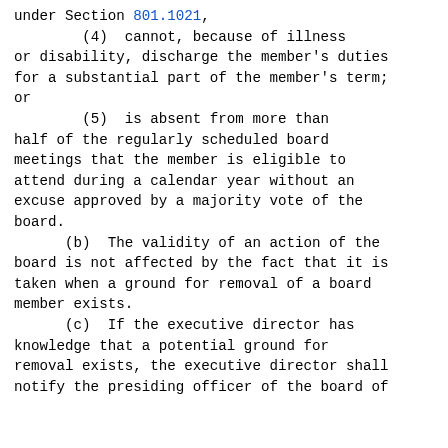under Section 801.1021,
        (4)  cannot, because of illness or disability, discharge the member's duties for a substantial part of the member's term; or
        (5)  is absent from more than half of the regularly scheduled board meetings that the member is eligible to attend during a calendar year without an excuse approved by a majority vote of the board.
    (b)  The validity of an action of the board is not affected by the fact that it is taken when a ground for removal of a board member exists.
    (c)  If the executive director has knowledge that a potential ground for removal exists, the executive director shall notify the presiding officer of the board of